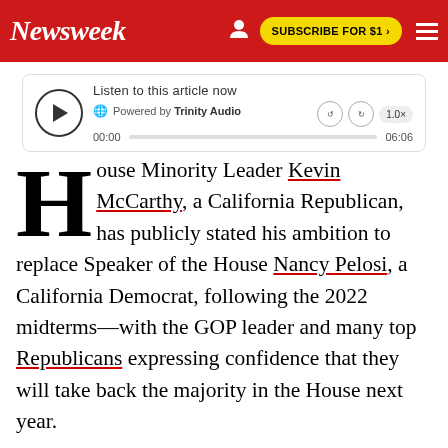Newsweek — SUBSCRIBE FOR $1 >
[Figure (screenshot): Audio player widget: Listen to this article now, Powered by Trinity Audio, playback time 00:00 / 06:06, speed 1.0x]
House Minority Leader Kevin McCarthy, a California Republican, has publicly stated his ambition to replace Speaker of the House Nancy Pelosi, a California Democrat, following the 2022 midterms—with the GOP leader and many top Republicans expressing confidence that they will take back the majority in the House next year.